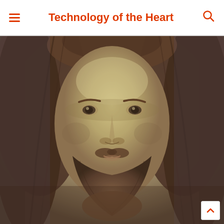Technology of the Heart
[Figure (illustration): Close-up portrait illustration of a bearded man with long brown hair, resembling classical depictions of Jesus Christ. The figure faces forward with a calm, serene expression. The image has an aged, painting-like quality with muted olive, brown, and purple tones.]